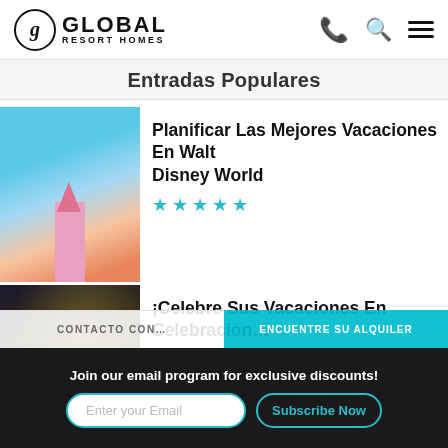Global Resort Homes — navigation header with logo, phone, search, and menu icons
Entradas Populares
Planificar Las Mejores Vacaciones En Walt Disney World — 5 stars
¡Celebre Sus Vacaciones En Celebración — 5 stars
Guía Para Los Amantes…
Join our email program for exclusive discounts!
Enter your Email — Subscribe Now